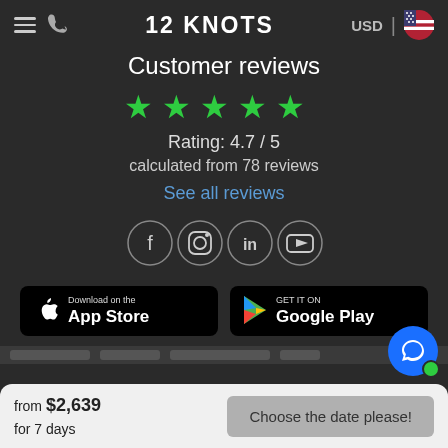12 KNOTS | USD
Customer reviews
[Figure (other): Five green star rating icons]
Rating: 4.7 / 5
calculated from 78 reviews
See all reviews
[Figure (other): Social media icons: Facebook, Instagram, LinkedIn, YouTube - each in a circle]
[Figure (other): App Store and Google Play download buttons]
from $2,639
for 7 days
Choose the date please!